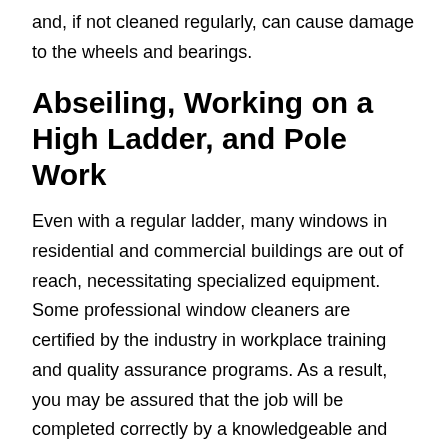and, if not cleaned regularly, can cause damage to the wheels and bearings.
Abseiling, Working on a High Ladder, and Pole Work
Even with a regular ladder, many windows in residential and commercial buildings are out of reach, necessitating specialized equipment. Some professional window cleaners are certified by the industry in workplace training and quality assurance programs. As a result, you may be assured that the job will be completed correctly by a knowledgeable and qualified individual. However, don't jeopardize your health and safety. Let us locate window cleaners who provide this service.
Like other service providers, professional window cleaners